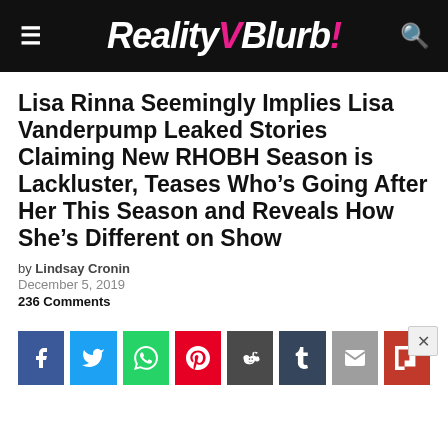Reality Blurb!
Lisa Rinna Seemingly Implies Lisa Vanderpump Leaked Stories Claiming New RHOBH Season is Lackluster, Teases Who’s Going After Her This Season and Reveals How She’s Different on Show
by Lindsay Cronin
December 5, 2019
236 Comments
[Figure (infographic): Social share buttons for Facebook, Twitter, WhatsApp, Pinterest, Reddit, Tumblr, Email, and Flipboard]